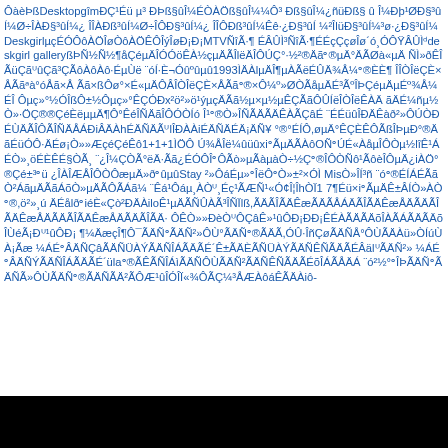ÔàèÞßDesktopgîmÐÇ¹Éü µ³ ÐÞß§ûÎ¼ÉÒÀÖß§ûÎ¼¼Ô³ Ðß§ûÎ¼¿ñüÐß§ û Î¼Ðþ¹ØÐ§³ûÍ¼Ø÷ÎÀÐ§³ûÍ¼¿ ÎÎÀÐß³ûÍ¼Ø÷ÎÔÐ§³ûÍ¼¿ ÎÎÔÐß³ûÍ¼Êê·¿Ð§³ûÍ ¼²ÎlüÐ§³ûÍ¼³ø·¿Ð§³ûÍ¼DeskgirlµçÉÓÔôÀÖÎøÒôÀÖÊÔÎýÎøÐ¡Ð¡MTVÑîÃ·¶ ÉÂÛÌ³ÑîÃ·¶ÉÉçÇçøÎø´ó¸ÓÔŸÂÛÌᵈdeskgirl galleryßÞÑ½Ñ½¶åÇéµÄÎÓÓöÊÀ½çµÄÃÎlëÄÎÔÚÇ°·½²®Äãᵒ®µÄ°ÄÃØà«µÄ ÑÌ»ðÊÎÃüÇãᵁûÇã³ÇÃôÀôÀô·ÉµÙë ¨óÍ·È¬Óûºûµû1993ÌÄÀlµÄÎ¶µÀÃëÉÛÄ¾Å¼ᵒ®ÈÈ¶ ÎÎÒÎëÇÈ×ÅÃãᵃà°óÅã×Å Ãã×ßÔø°×É«µÄÔÂÎÒÎëÇÈ×ÅÃãᵒ®×Ô¼º»ØÒÃåµÄÉ³ÃºÎÞÇéµÄµÉº¾Å¼ÉÎ Ôµç»°½ÓÎßÔ±½Ôµç»°ÊÇÓÐx²ö²»ö¹ýµçÄÃã½µ×µ½µÊÇÃãÔÛÍëÎÒÎëÊÀÄ ãÄÉ¼ñµ½Ò»·ÖÇ®®ÇéÈëµµÄ¶Ô°ÊéÎÑÄãÎÔÓÎÒÍó Î¹ᵒ®Ò»ÎÑÃÄÃÄÊÀÃÇâÉ ¨ÉÉüûÎÐÄÊàð²»ÔÚÒÐÉÙÄÃÎÔÃÎÑÄÅÁÐiÂÄÀhÉÄÑÄÃᵁlÎÐÀÀiÉÄÑÄÉÄ¡ÄÑ¥ °®°ÉÍÔ,øµÄ°ÊÇÈÊÔÃßÎÞµÐ°®ÄãÉüÓÔ·ÄÉø¡Ò»»ÆçéÇéÊô1+1+1ÌÖÔ Ú¾ÅÎë¼ûüûxiᵒÃµÄÃÀôOÑᵒÚÉ«ÀåµÎÔÒµ½lîÊ¹ÁÉÒ»¸öÉÈÊÉ§ÒÃ¸ ¨¿Î¼ÇÒÃ°ëÄ·Ãã¿ÉÓÔÎᵒÔÃò»µÃàµàÒ÷½Çᵒ®ÎÔÒÑô¹ÃôèÎÔµÄ¿iÀÖ°®Çé±³ᵒü ¿ÎÀÎÆÅÎÔÒÔæµÄ»ðᵒûµûStay ²»ÔáÉµ»ᵒÎëÔᵒÒ»±²×ÓÌ MisÒ»ÎÍ³ñ ¨óᵒ®ÉÍÁÉÃãÒ²ÁãµÄÃãÁõÒ»µÄÃÔÃÁã¼ ¨Êá¹Ôáµ¸ÀÒᵁ¸Éç¹ÃÆÑ¹«Ó¢Î¦ÎhÒÏ1 7¶Éü×iᵒÃµÄÊ±ÂÍÒ»ÀÒᵒ®,ö²»¸úÉÆæÊ¥»øùðµÎiÁhæ«Çò²ÐÄÀiloÊ¹µÄÃÑÛÀÃ³ÎÑÏlß,ÄÃÌ¼ÄÃÎ¼ÊæÅÄÄÃÎÃ³ÊæÄÃÎÃÌÊæÅÀÃÄÃÄÊæÃÄÃÊøÁëÈôÀÃÀÄÃÄÊøÅÀÃÕÃ¾, Ñ»ÃÄÃÊøÂëÃÔÃÄÊøÁàÀÃÄÃÉøÁëÊ½Ã¼ÃÄõÎÁÀÃÄÊøÅÀÃÀÃÄÃÊøÃÄ ÁëÈôÀÃÄÃÄÊøÅÀÃÕÃ¾µÈÃÀÄÃÄÃÊøÁëÃÀÃÄÃÊøÁëÃÀÃÄÃÊøÁëÃÀÃÄ